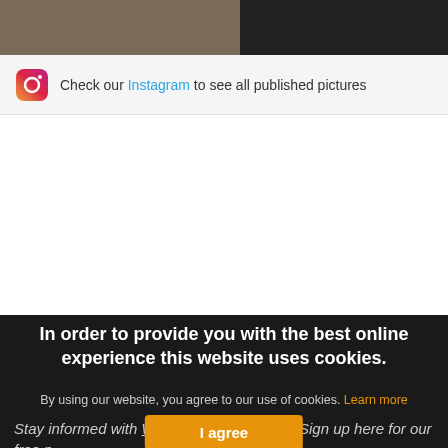[Figure (photo): Top portion of page showing a partially visible image strip, dark and brownish tones]
Check our Instagram to see all published pictures
In order to provide you with the best online experience this website uses cookies.
By using our website, you agree to our use of cookies. Learn more
Stay informed with Windtech International! Sign up here for our free n...
I agree